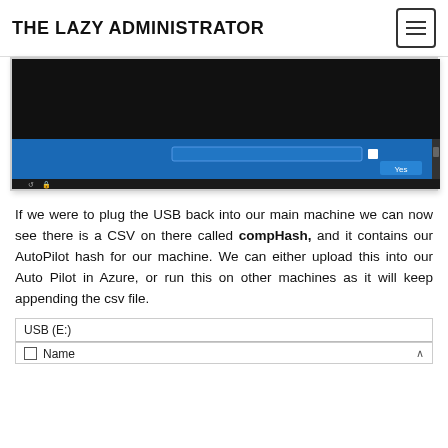THE LAZY ADMINISTRATOR
[Figure (screenshot): A dark Windows setup/installation screen with a black area at top and a blue lower section showing a dialog with a checkbox and a 'Yes' button, plus taskbar icons at the bottom.]
If we were to plug the USB back into our main machine we can now see there is a CSV on there called compHash, and it contains our AutoPilot hash for our machine. We can either upload this into our Auto Pilot in Azure, or run this on other machines as it will keep appending the csv file.
[Figure (screenshot): USB (E:) file explorer window showing a Name column with a sort arrow and a checkbox column header.]